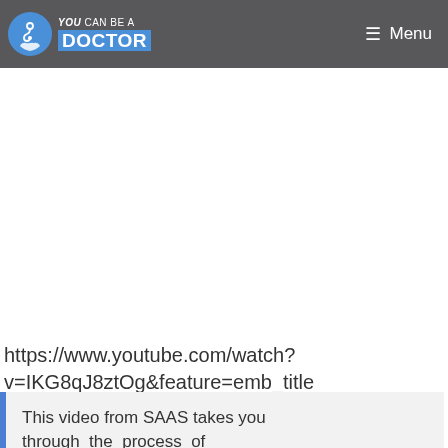YOU CAN BE A DOCTOR — Menu
https://www.youtube.com/watch?v=IKG8qJ8ztOg&feature=emb_title
This video from SAAS takes you through the process of